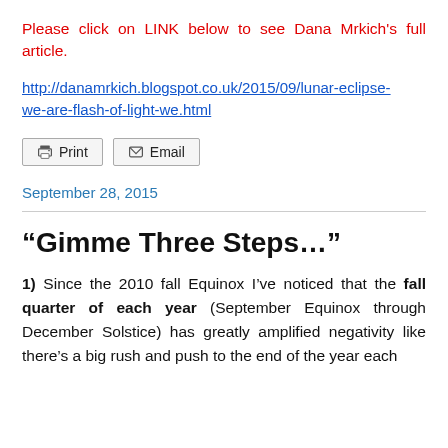Please click on LINK below to see Dana Mrkich's full article.
http://danamrkich.blogspot.co.uk/2015/09/lunar-eclipse-we-are-flash-of-light-we.html
[Figure (other): Print and Email buttons]
September 28, 2015
“Gimme Three Steps…”
1) Since the 2010 fall Equinox I’ve noticed that the fall quarter of each year (September Equinox through December Solstice) has greatly amplified negativity like there’s a big rush and push to the end of the year each